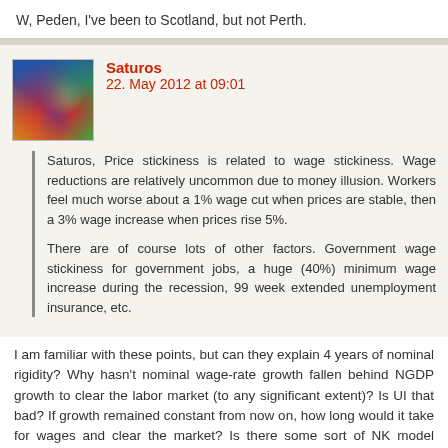W, Peden, I've been to Scotland, but not Perth.
Saturos
22. May 2012 at 09:01
Saturos, Price stickiness is related to wage stickiness. Wage reductions are relatively uncommon due to money illusion. Workers feel much worse about a 1% wage cut when prices are stable, then a 3% wage increase when prices rise 5%.

There are of course lots of other factors. Government wage stickiness for government jobs, a huge (40%) minimum wage increase during the recession, 99 week extended unemployment insurance, etc.
I am familiar with these points, but can they explain 4 years of nominal rigidity? Why hasn't nominal wage-rate growth fallen behind NGDP growth to clear the labor market (to any significant extent)? Is UI that bad? If growth remained constant from now on, how long would it take for wages and clear the market? Is there some sort of NK model which explains this in
I drove from Darwin to Perth in 1991-4000 miles. I slept in the back of my van at night.
That would have been beautiful. But the mozzies must have killed you.